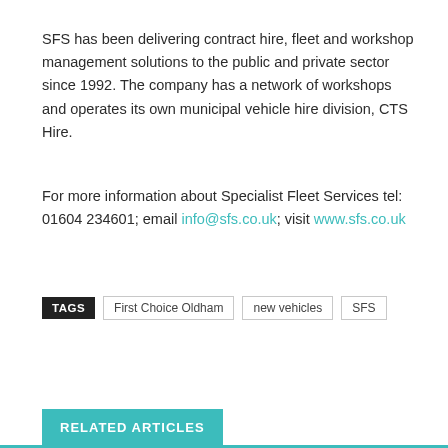SFS has been delivering contract hire, fleet and workshop management solutions to the public and private sector since 1992. The company has a network of workshops and operates its own municipal vehicle hire division, CTS Hire.
For more information about Specialist Fleet Services tel: 01604 234601; email info@sfs.co.uk; visit www.sfs.co.uk
TAGS: First Choice Oldham | new vehicles | SFS
RELATED ARTICLES